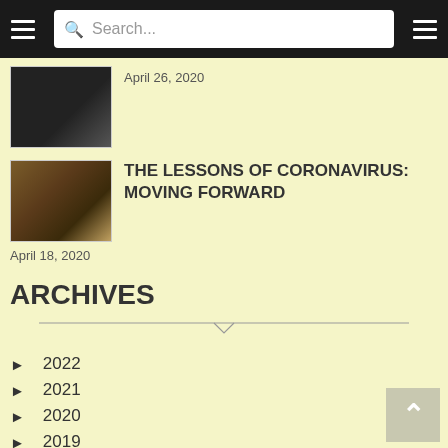Search...
April 26, 2020
THE LESSONS OF CORONAVIRUS: MOVING FORWARD
April 18, 2020
ARCHIVES
2022
2021
2020
2019
2018
2017
2016